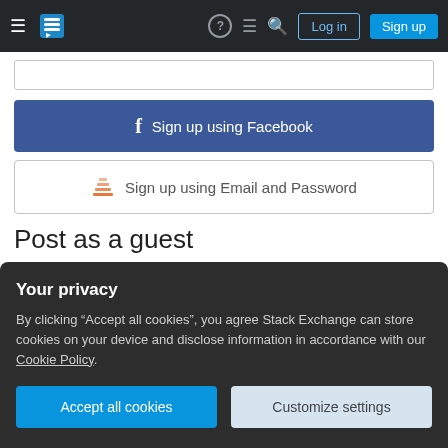[Figure (screenshot): Stack Exchange navigation bar with hamburger menu, logo, help icon, chat icon, search icon, Log in button, and Sign up button on dark background]
[Figure (screenshot): Partial text input field stub at top of form]
[Figure (screenshot): Blue Facebook Sign up button with Facebook icon]
[Figure (screenshot): White Sign up using Email and Password button with Stack Exchange icon]
Post as a guest
Name
[Figure (screenshot): Empty text input field for Name]
Email
Required, but never shown
Your privacy
By clicking "Accept all cookies", you agree Stack Exchange can store cookies on your device and disclose information in accordance with our Cookie Policy.
[Figure (screenshot): Accept all cookies and Customize settings buttons in dark privacy banner]